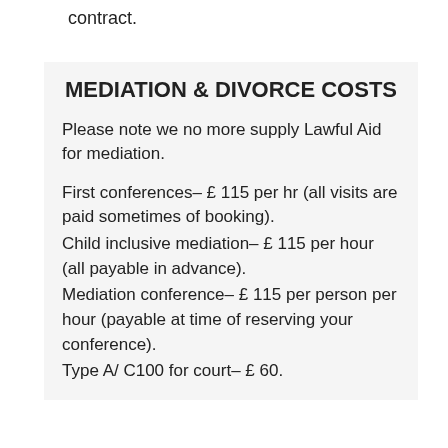contract.
MEDIATION & DIVORCE COSTS
Please note we no more supply Lawful Aid for mediation.
First conferences– £ 115 per hr (all visits are paid sometimes of booking).
Child inclusive mediation– £ 115 per hour (all payable in advance).
Mediation conference– £ 115 per person per hour (payable at time of reserving your conference).
Type A/ C100 for court– £ 60.